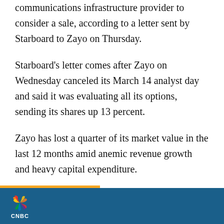communications infrastructure provider to consider a sale, according to a letter sent by Starboard to Zayo on Thursday.
Starboard's letter comes after Zayo on Wednesday canceled its March 14 analyst day and said it was evaluating all its options, sending its shares up 13 percent.
Zayo has lost a quarter of its market value in the last 12 months amid anemic revenue growth and heavy capital expenditure.
Starboard, which has been in contact with Zayo
CNBC